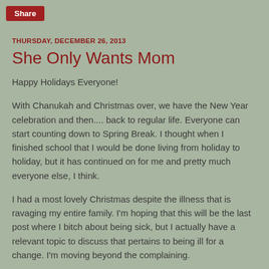Share
THURSDAY, DECEMBER 26, 2013
She Only Wants Mom
Happy Holidays Everyone!
With Chanukah and Christmas over, we have the New Year celebration and then.... back to regular life.  Everyone can start counting down to Spring Break.  I thought when I finished school that I would be done living from holiday to holiday, but it has continued on for me and pretty much everyone else, I think.
I had a most lovely Christmas despite the illness that is ravaging my entire family.  I'm hoping that this will be the last post where I bitch about being sick, but I actually have a relevant topic to discuss that pertains to being ill for a change.  I'm moving beyond the complaining.